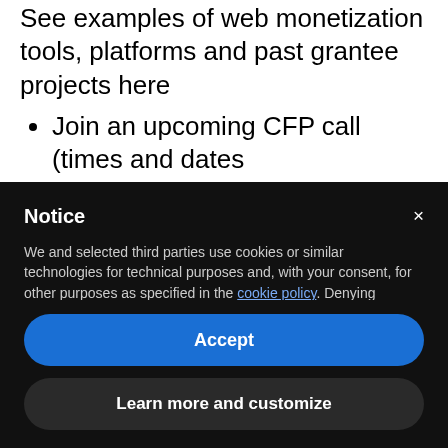See examples of web monetization tools, platforms and past grantee projects here
Join an upcoming CFP call (times and dates
Notice
We and selected third parties use cookies or similar technologies for technical purposes and, with your consent, for other purposes as specified in the cookie policy. Denying consent may make related features unavailable. You can consent to the use of such technologies by using the "Accept" button, by closing this notice, by scrolling this page, by interacting with any link or button outside of this notice or by continuing to browse otherwise.
Accept
Learn more and customize